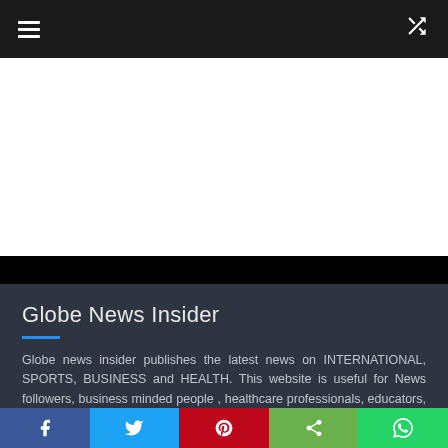Globe News Insider — navigation bar with hamburger menu and shuffle icon
[Figure (other): White advertisement banner area]
Globe News Insider
Globe news insider publishes the latest news on INTERNATIONAL, SPORTS, BUSINESS and HEALTH. This website is useful for News followers, business minded people , healthcare professionals, educators, and the general public around the world. Breaking news is updated on our website every day. Our mission is to provide the most complete,
Social share buttons: Facebook, Twitter, Pinterest, Share, WhatsApp